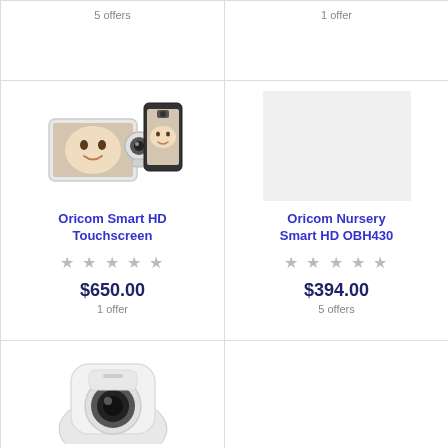5 offers
1 offer
[Figure (photo): Oricom Smart HD Touchscreen baby monitor with screen and smartphone]
[Figure (photo): Oricom Nursery Smart HD OBH430 product image placeholder]
Oricom Smart HD Touchscreen
Oricom Nursery Smart HD OBH430
★★★★★ (empty stars)
★★★★★ (empty stars)
$650.00
$394.00
1 offer
5 offers
[Figure (photo): White baby camera device, partial view at bottom of page]